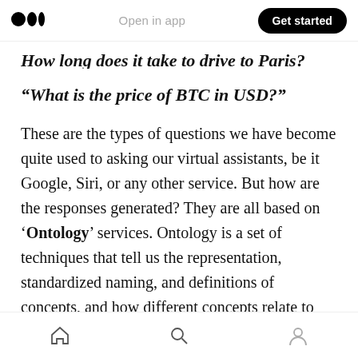Open in app | Get started
How long does it take to drive to Paris?
“What is the price of BTC in USD?”
These are the types of questions we have become quite used to asking our virtual assistants, be it Google, Siri, or any other service. But how are the responses generated? They are all based on ‘Ontology’ services. Ontology is a set of techniques that tell us the representation, standardized naming, and definitions of concepts, and how different concepts relate to each other. These categorizations are essential
Home | Search | Profile